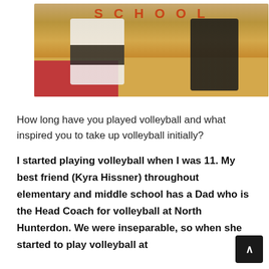[Figure (photo): Two volleyball players on an indoor court. One player in white uniform is in a low defensive stance, the other in black uniform is also in ready position. Red court markings visible in background with school text above.]
How long have you played volleyball and what inspired you to take up volleyball initially?
I started playing volleyball when I was 11. My best friend (Kyra Hissner) throughout elementary and middle school has a Dad who is the Head Coach for volleyball at North Hunterdon. We were inseparable, so when she started to play volleyball at